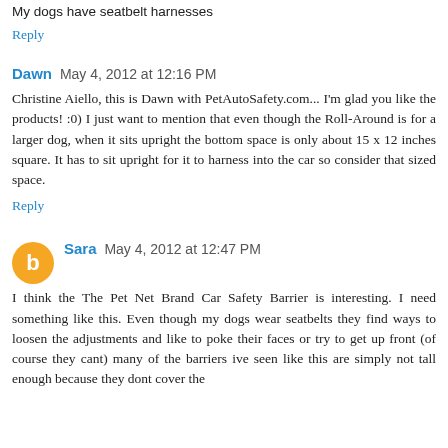My dogs have seatbelt harnesses
Reply
Dawn  May 4, 2012 at 12:16 PM
Christine Aiello, this is Dawn with PetAutoSafety.com... I'm glad you like the products! :0) I just want to mention that even though the Roll-Around is for a larger dog, when it sits upright the bottom space is only about 15 x 12 inches square. It has to sit upright for it to harness into the car so consider that sized space.
Reply
Sara  May 4, 2012 at 12:47 PM
I think the The Pet Net Brand Car Safety Barrier is interesting. I need something like this. Even though my dogs wear seatbelts they find ways to loosen the adjustments and like to poke their faces or try to get up front (of course they cant) many of the barriers ive seen like this are simply not tall enough because they dont cover the